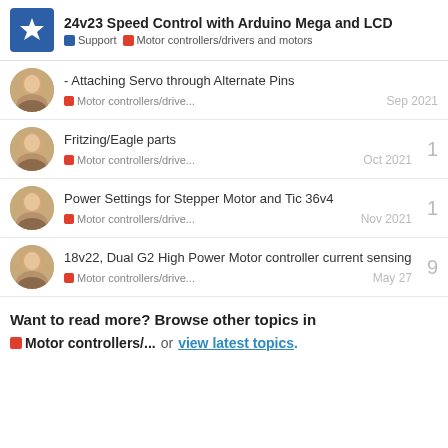24v23 Speed Control with Arduino Mega and LCD — Support, Motor controllers/drivers and motors
- Attaching Servo through Alternate Pins | Motor controllers/drive... | Sep 2021
Fritzing/Eagle parts | Motor controllers/drive... | Oct 2021 | replies: 1
Power Settings for Stepper Motor and Tic 36v4 | Motor controllers/drive... | Nov 2021 | replies: 1
18v22, Dual G2 High Power Motor controller current sensing | Motor controllers/drive... | May 27 | replies: 9
Want to read more? Browse other topics in Motor controllers/... or view latest topics.